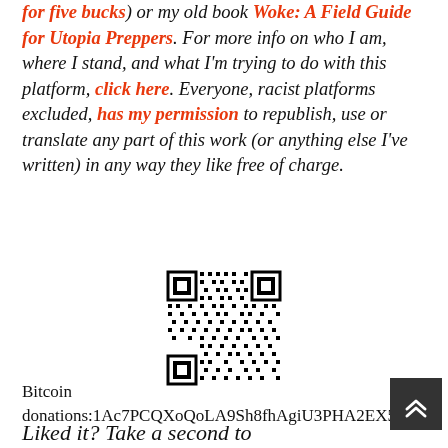for five bucks) or my old book Woke: A Field Guide for Utopia Preppers. For more info on who I am, where I stand, and what I'm trying to do with this platform, click here. Everyone, racist platforms excluded, has my permission to republish, use or translate any part of this work (or anything else I've written) in any way they like free of charge.
[Figure (other): QR code for Bitcoin donations]
Bitcoin donations:1Ac7PCQXoQoLA9Sh8fhAgiU3PHA2EX5Zr
Liked it? Take a second to